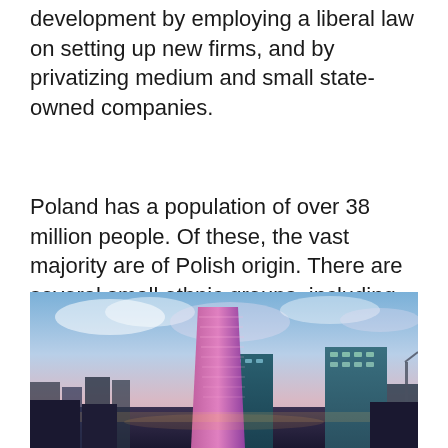development by employing a liberal law on setting up new firms, and by privatizing medium and small state-owned companies.
Poland has a population of over 38 million people. Of these, the vast majority are of Polish origin. There are several small ethnic groups, including Germans, Silesians, Ukrainians, Belarusians, Russians, and Roma
[Figure (photo): Aerial cityscape photograph of Warsaw, Poland, showing modern skyscrapers including a tall twisted glass tower with pink/magenta lighting, and other office buildings against a dramatic blue and purple sky at dusk.]